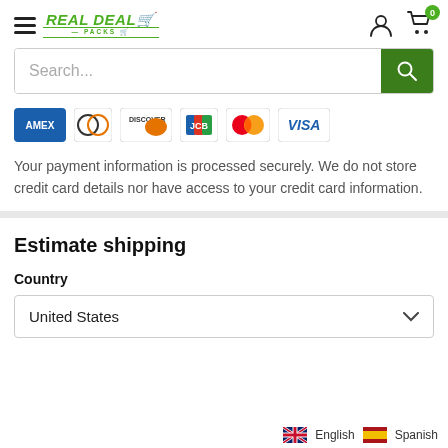[Figure (logo): Real Deal Packs logo in green with shopping cart icon]
[Figure (screenshot): Search bar with green search button]
[Figure (infographic): Payment method icons: Amex, Diners, Discover, JCB, Mastercard, Visa]
Your payment information is processed securely. We do not store credit card details nor have access to your credit card information.
Estimate shipping
Country
United States
English  Spanish